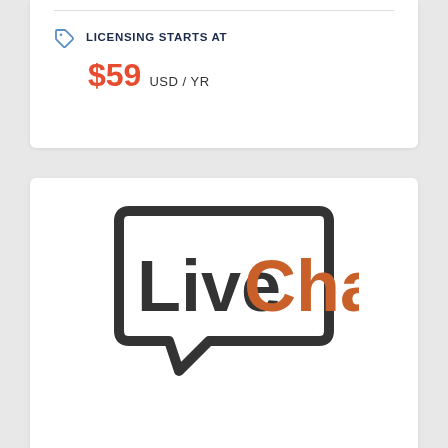site in minutes
LICENSING STARTS AT
$59 USD / YR
[Figure (logo): LiveChat logo — speech bubble outline containing the text 'Live' in dark gray and 'Chat' in orange]